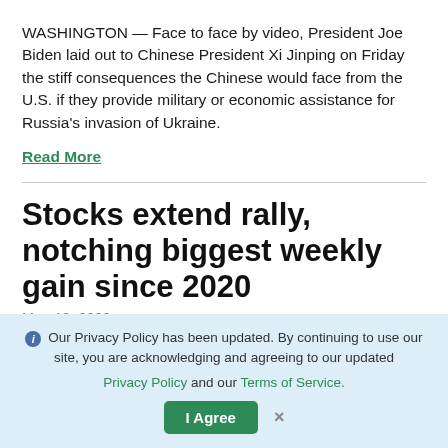WASHINGTON — Face to face by video, President Joe Biden laid out to Chinese President Xi Jinping on Friday the stiff consequences the Chinese would face from the U.S. if they provide military or economic assistance for Russia's invasion of Ukraine.
Read More
Stocks extend rally, notching biggest weekly gain since 2020
Mar. 19, 2022
Stocks recovered from an early slide on Wall Street and closed broadly higher Friday, notching their biggest
❶ Our Privacy Policy has been updated. By continuing to use our site, you are acknowledging and agreeing to our updated Privacy Policy and our Terms of Service. I Agree ×